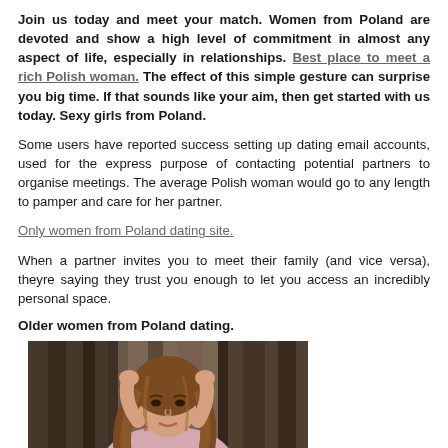Join us today and meet your match. Women from Poland are devoted and show a high level of commitment in almost any aspect of life, especially in relationships. Best place to meet a rich Polish woman. The effect of this simple gesture can surprise you big time. If that sounds like your aim, then get started with us today. Sexy girls from Poland.
Some users have reported success setting up dating email accounts, used for the express purpose of contacting potential partners to organise meetings. The average Polish woman would go to any length to pamper and care for her partner.
Only women from Poland dating site.
When a partner invites you to meet their family (and vice versa), theyre saying they trust you enough to let you access an incredibly personal space.
Older women from Poland dating.
[Figure (photo): Portrait photo of a young woman with long wavy brown hair, wearing a light pink top, posed with arms raised behind head, with a blurred bookshelf background.]